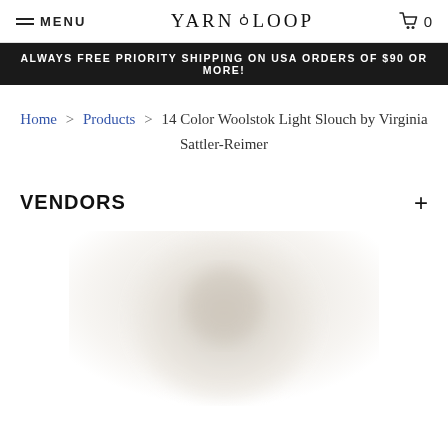MENU | YARN LOOP | 0
ALWAYS FREE PRIORITY SHIPPING ON USA ORDERS OF $90 OR MORE!
Home > Products > 14 Color Woolstok Light Slouch by Virginia Sattler-Reimer
VENDORS
[Figure (photo): Blurred product photo showing yarn or hat in light cream/white tones]